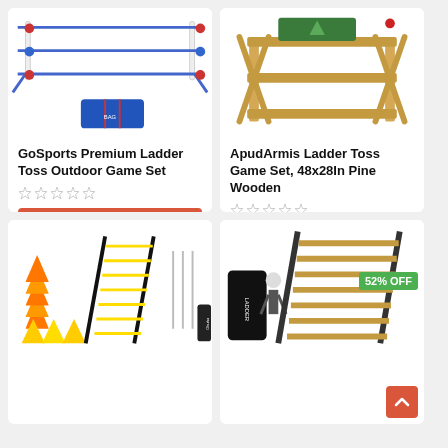[Figure (photo): GoSports Premium Ladder Toss game set with blue carrying bag]
GoSports Premium Ladder Toss Outdoor Game Set
[Figure (other): 5 empty star rating]
See at Amazon
[Figure (photo): ApudArmis Ladder Toss Game Set wooden frame with green bag on top]
ApudArmis Ladder Toss Game Set, 48x28In Pine Wooden
[Figure (other): 5 empty star rating]
See at Amazon
[Figure (photo): Agility ladder set with orange and yellow cones and metal stakes]
[Figure (photo): Wooden agility ladder leaned at angle with carrying bag, 52% OFF badge]
52% OFF